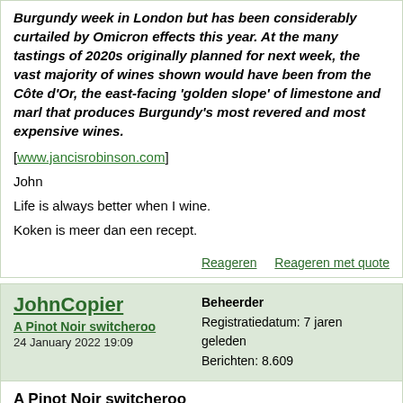Burgundy week in London but has been considerably curtailed by Omicron effects this year. At the many tastings of 2020s originally planned for next week, the vast majority of wines shown would have been from the Côte d'Or, the east-facing 'golden slope' of limestone and marl that produces Burgundy's most revered and most expensive wines.
[www.jancisrobinson.com]
John
Life is always better when I wine.
Koken is meer dan een recept.
Reageren    Reageren met quote
JohnCopier
A Pinot Noir switcheroo
24 January 2022 19:09
Beheerder
Registratiedatum: 7 jaren geleden
Berichten: 8.609
A Pinot Noir switcheroo